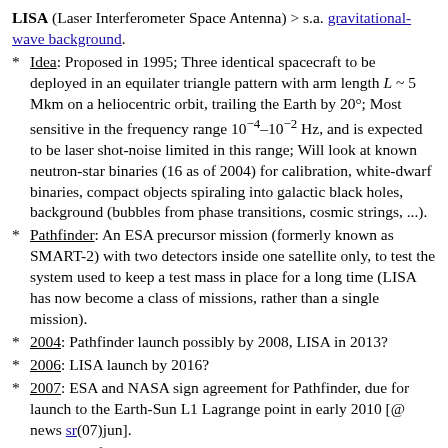LISA (Laser Interferometer Space Antenna) > s.a. gravitational-wave background.
Idea: Proposed in 1995; Three identical spacecraft to be deployed in an equilater triangle pattern with arm length L ~ 5 Mkm on a heliocentric orbit, trailing the Earth by 20°; Most sensitive in the frequency range 10^-4–10^-2 Hz, and is expected to be laser shot-noise limited in this range; Will look at known neutron-star binaries (16 as of 2004) for calibration, white-dwarf binaries, compact objects spiraling into galactic black holes, background (bubbles from phase transitions, cosmic strings, ...).
Pathfinder: An ESA precursor mission (formerly known as SMART-2) with two detectors inside one satellite only, to test the system used to keep a test mass in place for a long time (LISA has now become a class of missions, rather than a single mission).
2004: Pathfinder launch possibly by 2008, LISA in 2013?
2006: LISA launch by 2016?
2007: ESA and NASA sign agreement for Pathfinder, due for launch to the Earth-Sun L1 Lagrange point in early 2010 [@ news sr(07)jun].
2008: Pathfinder to be launched in 2011, and LISA in 2018? LISA expected to see 60–70 smbh mergers per year, most at z > 10.
2011: ESA-NASA partnership ends [@ news disc(11)apr]; ESA studies possible smaller, European-only mission; Pathfinder in 2014? [@ news ESA(11)jun].